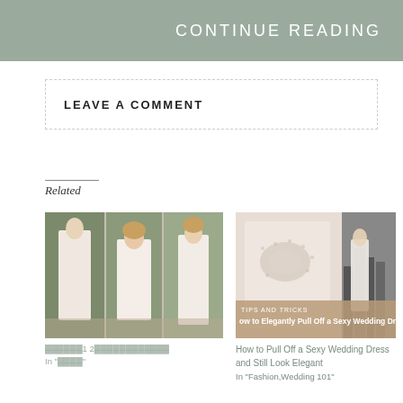CONTINUE READING
LEAVE A COMMENT
Related
[Figure (photo): Collage of three wedding dress photos in an outdoor setting, showing brides in white/cream gowns]
[Figure (photo): Close-up of a lace wedding dress with a city/bride background, with overlay text: TIPS AND TRICKS / How to Elegantly Pull Off a Sexy Wedding Dress]
🔲🔲🔲🔲🔲🔲1 2🔲🔲🔲🔲🔲🔲🔲🔲🔲🔲🔲🔲
In "🔲🔲🔲🔲"
How to Pull Off a Sexy Wedding Dress and Still Look Elegant
In "Fashion,Wedding 101"